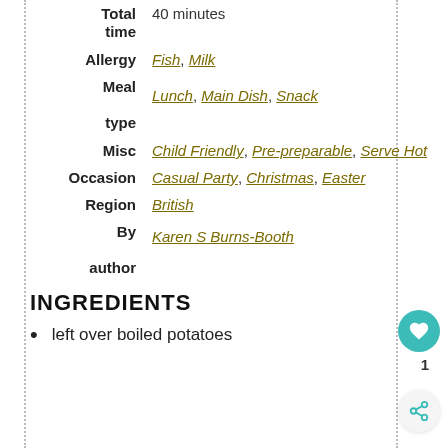| Label | Value |
| --- | --- |
| Total time | 40 minutes |
| Allergy | Fish, Milk |
| Meal type | Lunch, Main Dish, Snack |
| Misc | Child Friendly, Pre-preparable, Serve Hot |
| Occasion | Casual Party, Christmas, Easter |
| Region | British |
| By author | Karen S Burns-Booth |
INGREDIENTS
left over boiled potatoes